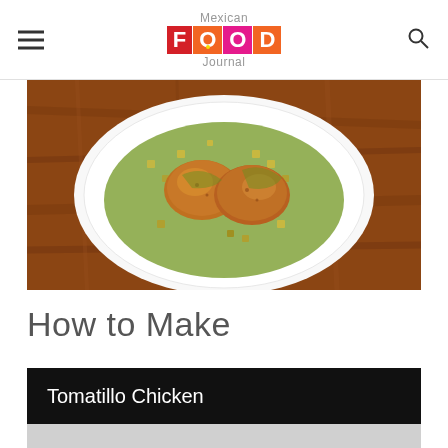Mexican FOOD Journal
[Figure (photo): A white plate with tomatillo chicken thighs in green tomatillo sauce with diced vegetables, photographed from above on a wooden table surface]
How to Make
Tomatillo Chicken